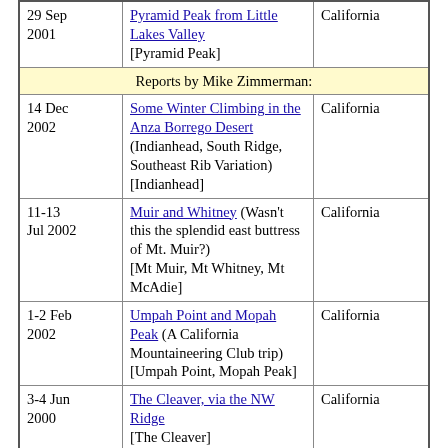| Date | Trip Report | State |
| --- | --- | --- |
| 29 Sep 2001 | Pyramid Peak from Little Lakes Valley [Pyramid Peak] | California |
|  | Reports by Mike Zimmerman: |  |
| 14 Dec 2002 | Some Winter Climbing in the Anza Borrego Desert (Indianhead, South Ridge, Southeast Rib Variation) [Indianhead] | California |
| 11-13 Jul 2002 | Muir and Whitney (Wasn't this the splendid east buttress of Mt. Muir?) [Mt Muir, Mt Whitney, Mt McAdie] | California |
| 1-2 Feb 2002 | Umpah Point and Mopah Peak (A California Mountaineering Club trip) [Umpah Point, Mopah Peak] | California |
| 3-4 Jun 2000 | The Cleaver, via the NW Ridge [The Cleaver] | California |
Disclaimers!
Climber.Org helps people find each other, but doesn't sponsor trips.